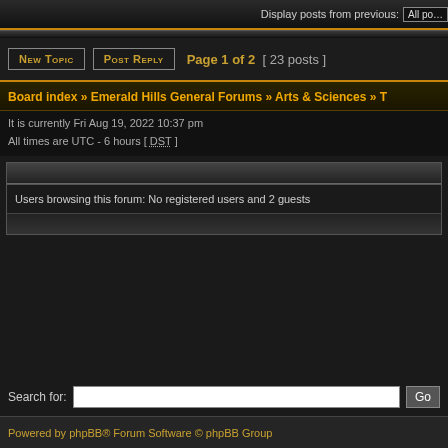Display posts from previous: All posts
New Topic   Post Reply   Page 1 of 2  [ 23 posts ]
Board index » Emerald Hills General Forums » Arts & Sciences » T
It is currently Fri Aug 19, 2022 10:37 pm
All times are UTC - 6 hours [ DST ]
Users browsing this forum: No registered users and 2 guests
Search for:  Go
Powered by phpBB® Forum Software © phpBB Group